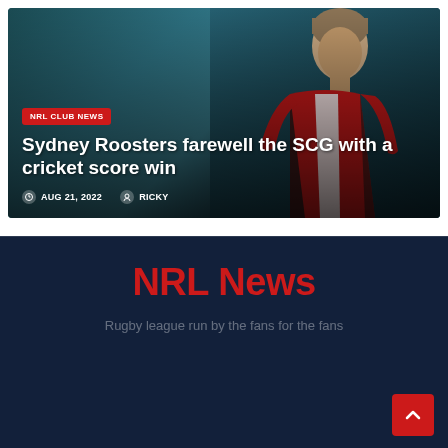[Figure (photo): Rugby league player in red and white Sydney Roosters jersey against a dark teal background]
NRL CLUB NEWS
Sydney Roosters farewell the SCG with a cricket score win
AUG 21, 2022   RICKY
NRL News
Rugby league run by the fans for the fans